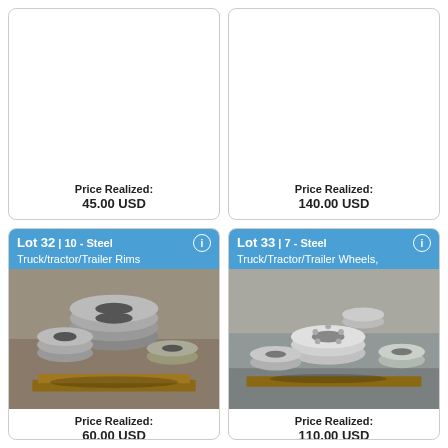Price Realized: 45.00 USD
Price Realized: 140.00 USD
[Figure (photo): Lot 32 - 10 Steel Truck/tractor/Trailer Rims stacked on pallets in a warehouse]
Lot 32 | 10 - Steel Truck/tractor/Trailer Rims
Price Realized: 60.00 USD
[Figure (photo): Lot 33 - 7 Steel Truck/Tractor/Trailer Wheels stacked on pallets in a warehouse]
Lot 33 | 7 - Steel Truck/Tractor/Trailer Wheels
Price Realized: 110.00 USD